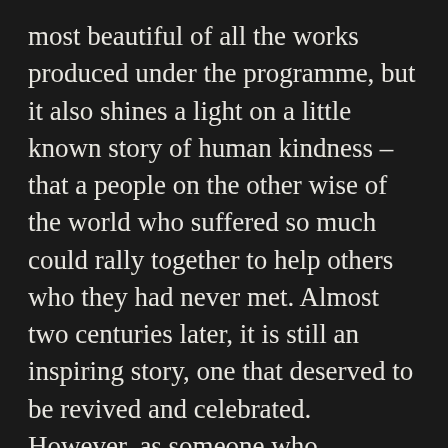most beautiful of all the works produced under the programme, but it also shines a light on a little known story of human kindness – that a people on the other wise of the world who suffered so much could rally together to help others who they had never met. Almost two centuries later, it is still an inspiring story, one that deserved to be revived and celebrated. However, as someone who regularly has to give directions to tourists looking for the sculpture, it's hard to understand the decision to locate it outside the town centre. Perhaps the council never expected this statue to become the most celebrated, or perhaps they were simply running